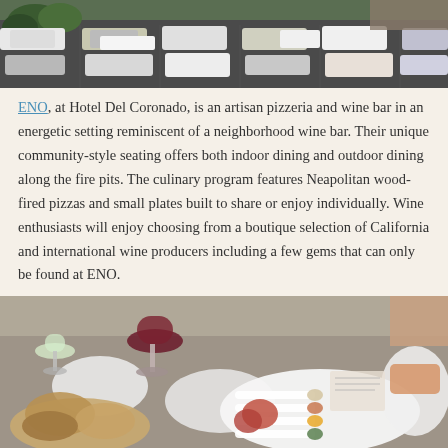[Figure (photo): Aerial view of a parking lot full of cars, with trees and buildings visible in the background.]
ENO, at Hotel Del Coronado, is an artisan pizzeria and wine bar in an energetic setting reminiscent of a neighborhood wine bar. Their unique community-style seating offers both indoor dining and outdoor dining along the fire pits. The culinary program features Neapolitan wood-fired pizzas and small plates built to share or enjoy individually. Wine enthusiasts will enjoy choosing from a boutique selection of California and international wine producers including a few gems that can only be found at ENO.
[Figure (photo): Table setting at ENO restaurant with glasses of white and red wine, bread, charcuterie, and condiment spoons on a white plate.]